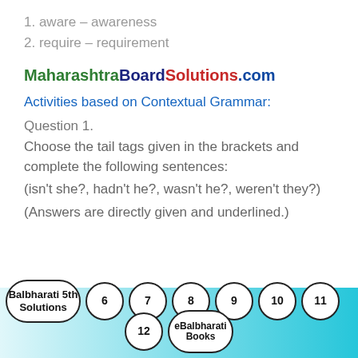1. aware – awareness
2. require – requirement
MaharashtraBoardSolutions.com
Activities based on Contextual Grammar:
Question 1.
Choose the tail tags given in the brackets and complete the following sentences:
(isn't she?, hadn't he?, wasn't he?, weren't they?)
(Answers are directly given and underlined.)
Balbharati 5th Solutions  6  7  8  9  10  11  12  eBalbharati Books